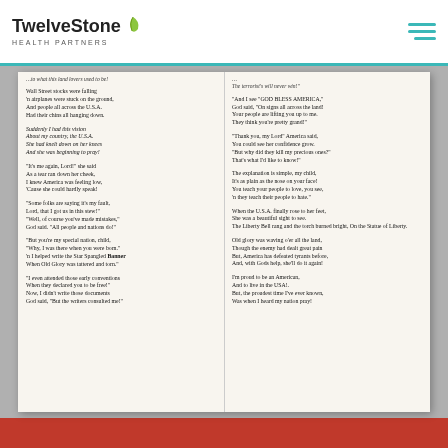TwelveStone Health Partners
[Figure (photo): A photograph of an open booklet/pamphlet showing a poem in two columns, placed on a red surface. The poem appears to be a patriotic piece about America praying.]
Wall Street stocks were falling
'n airplanes were stuck on the ground,
And people all across the U.S.A.
Had their chins all hanging down.

Suddenly I had this vision
About my country, the U.S.A.
She had knelt down on her knees
And she was beginning to pray!

"It's me again, Lord!" she said
As a tear ran down her cheek,
I knew America was feeling low,
'Cause she could hardly speak!

"Some folks are saying it's my fault,
Lord, that I got us in this stew!"
"Well, of course you've made mistakes,"
God said. "All people and nations do!"

"But you're my special nation, child,
"Why, I was there when you were born."
'n I helped write the Star Spangled Banner
When Old Glory was tattered and torn."

"I even attended those early conventions
When they declared you to be free!"
Now, I didn't write those documents
God said, "But the writers consulted me!"
The terrorist's will never win!"

"And I see "GOD BLESS AMERICA,"
God said, "On signs all across the land!
Your people are lifting you up to me.
They think you're pretty grand!"

"Thank you, my Lord" America said,
You could see her confidence grow.
"But why did they kill my precious ones?"
That's what I'd like to know!"

The explanation is simple, my child,
It's as plain as the nose on your face!
You teach your people to love, you see,
'n they teach their people to hate."

When the U.S.A. finally rose to her feet,
She was a beautiful sight to see.
The Liberty Bell rang and the torch burned bright, On the Statue of Liberty.

Old glory was waving o'er all the land,
Though the enemy had dealt great pain
But, America has defeated tyrants before,
And, with Gods help, she'll do it again!

I'm proud to be an American,
And to live in the USA!.
But, the proudest time I've ever known,
Was when I heard my nation pray!